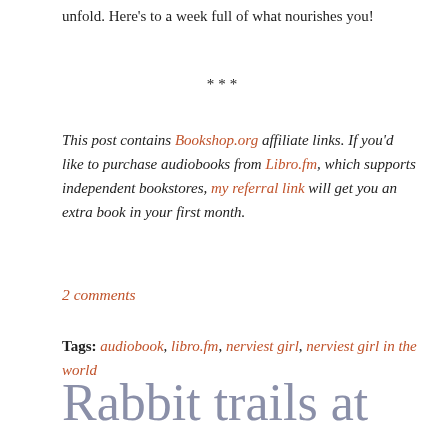unfold. Here's to a week full of what nourishes you!
***
This post contains Bookshop.org affiliate links. If you'd like to purchase audiobooks from Libro.fm, which supports independent bookstores, my referral link will get you an extra book in your first month.
2 comments
Tags: audiobook, libro.fm, nerviest girl, nerviest girl in the world
Rabbit trails at